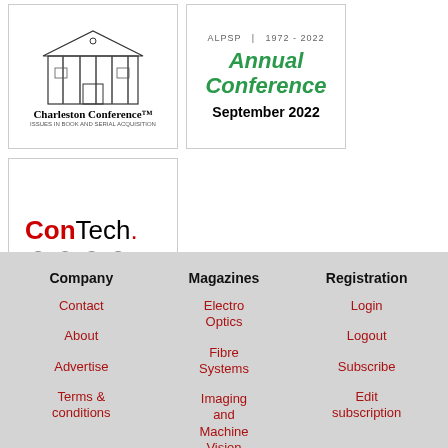[Figure (logo): Charleston Conference logo with building illustration, text 'Charleston Conference' and subtitle 'ISSUES IN BOOK AND SERIAL ACQUISITION']
[Figure (logo): ALPSP Annual Conference September 2022 logo with green text]
[Figure (logo): ConTech. 2022 logo, 29 - 30 Nov, contechlive.com]
Company
Magazines
Registration
Contact
Electro Optics
Login
About
Logout
Fibre Systems
Advertise
Subscribe
Imaging and Machine Vision Europe
Terms & conditions
Edit subscription